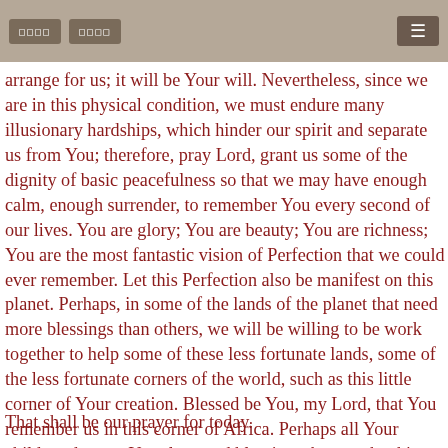□□□□  □□□□  ≡
arrange for us; it will be Your will. Nevertheless, since we are in this physical condition, we must endure many illusionary hardships, which hinder our spirit and separate us from You; therefore, pray Lord, grant us some of the dignity of basic peacefulness so that we may have enough calm, enough surrender, to remember You every second of our lives. You are glory; You are beauty; You are richness; You are the most fantastic vision of Perfection that we could ever remember. Let this Perfection also be manifest on this planet. Perhaps, in some of the lands of the planet that need more blessings than others, we will be willing to be work together to help some of these less fortunate lands, some of the less fortunate corners of the world, such as this little corner of Your creation. Blessed be You, my Lord, that You remember us in this corner of Africa. Perhaps all Your children deserve Your love and blessings, but maybe this corner deserves a little bit extra.
That shall be our prayer for today.